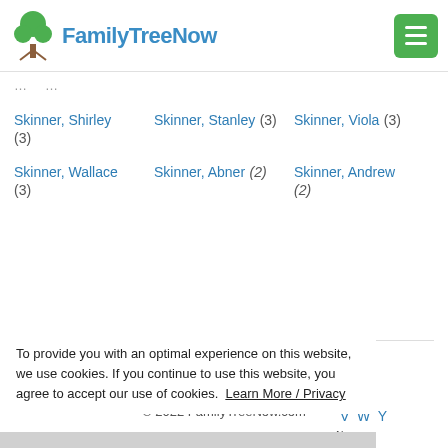FamilyTreeNow
Skinner, Shirley (3)
Skinner, Stanley (3)
Skinner, Viola (3)
Skinner, Wallace (3)
Skinner, Abner (2)
Skinner, Andrew (2)
Home - My Tree - About Us - Terms Privacy - Contact Us - Join - Sign In
© 2022 FamilyTreeNow.com
To provide you with an optimal experience on this website, we use cookies. If you continue to use this website, you agree to accept our use of cookies. Learn More / Privacy
Accept